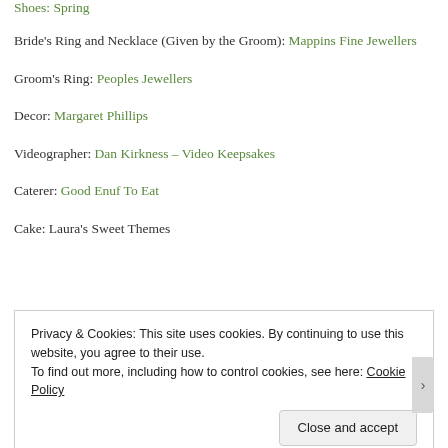Shoes: Spring
Bride's Ring and Necklace (Given by the Groom): Mappins Fine Jewellers
Groom's Ring: Peoples Jewellers
Decor: Margaret Phillips
Videographer: Dan Kirkness – Video Keepsakes
Caterer: Good Enuf To Eat
Cake: Laura's Sweet Themes
Privacy & Cookies: This site uses cookies. By continuing to use this website, you agree to their use. To find out more, including how to control cookies, see here: Cookie Policy
Close and accept